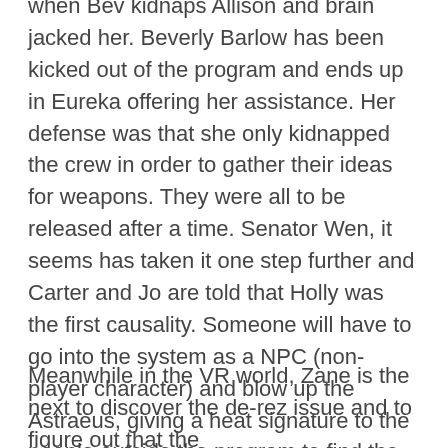when Bev kidnaps Allison and brain jacked her. Beverly Barlow has been kicked out of the program and ends up in Eureka offering her assistance. Her defense was that she only kidnapped the crew in order to gather their ideas for weapons. They were all to be released after a time. Senator Wen, it seems has taken it one step further and Carter and Jo are told that Holly was the first causality. Someone will have to go into the system as a NPC (non-player character) and blow up the Astraeus, giving a heat signature to the people outside the program to find the kidnapped crew. Carter volunteers to be that person.
Meanwhile in the VR world, Zane is the next to discover the de-rez issue and to figure out that the